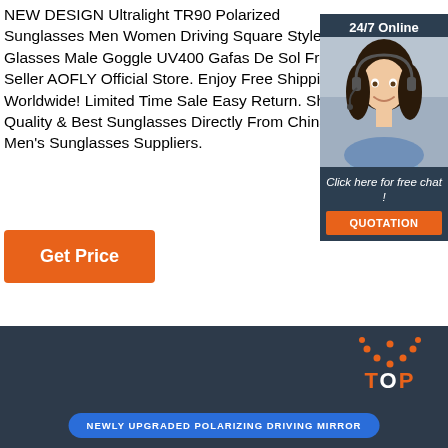NEW DESIGN Ultralight TR90 Polarized Sunglasses Men Women Driving Square Style Sun Glasses Male Goggle UV400 Gafas De Sol From Seller AOFLY Official Store. Enjoy Free Shipping Worldwide! Limited Time Sale Easy Return. Shop Quality & Best Sunglasses Directly From China Men's Sunglasses Suppliers.
[Figure (other): Customer service chat widget showing '24/7 Online' header, a woman with headset, 'Click here for free chat!' text, and an orange QUOTATION button]
Get Price
[Figure (logo): TOP logo with orange dotted arc above the text, on dark navy background]
NEWLY UPGRADED POLARIZING DRIVING MIRROR